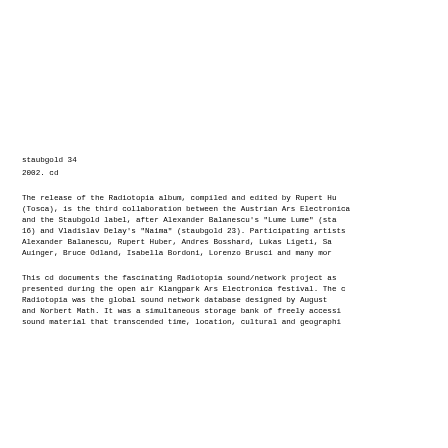staubgold 34
2002. cd
The release of the Radiotopia album, compiled and edited by Rupert Hu (Tosca), is the third collaboration between the Austrian Ars Electronica and the Staubgold label, after Alexander Balanescu's "Lume Lume" (sta 16) and Vladislav Delay's "Naima" (staubgold 23). Participating artists Alexander Balanescu, Rupert Huber, Andres Bosshard, Lukas Ligeti, Sa Auinger, Bruce Odland, Isabella Bordoni, Lorenzo Brusci and many mor
This cd documents the fascinating Radiotopia sound/network project as presented during the open air Klangpark Ars Electronica festival. The c Radiotopia was the global sound network database designed by August and Norbert Math. It was a simultaneous storage bank of freely accessi sound material that transcended time, location, cultural and geographi